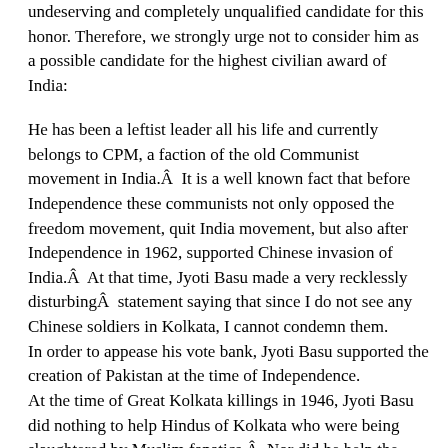undeserving and completely unqualified candidate for this honor. Therefore, we strongly urge not to consider him as a possible candidate for the highest civilian award of India:
He has been a leftist leader all his life and currently belongs to CPM, a faction of the old Communist movement in India.Â  It is a well known fact that before Independence these communists not only opposed the freedom movement, quit India movement, but also after Independence in 1962, supported Chinese invasion of India.Â  At that time, Jyoti Basu made a very recklessly disturbingÂ  statement saying that since I do not see any Chinese soldiers in Kolkata, I cannot condemn them. In order to appease his vote bank, Jyoti Basu supported the creation of Pakistan at the time of Independence. At the time of Great Kolkata killings in 1946, Jyoti Basu did nothing to help Hindus of Kolkata who were being slaughtered by Muslim fanatics.Â  Nor did he help the Hindu women in Noakhali who were mercilessly raped and murdered by Islamic goons. During his regime, 12 Anand Margi Sadhus were murdered in the broad day light allegedly by CPM cadres, but none of them was brought to books. Jyoti Basu has acted as a collaborator with the enemies of Bharat